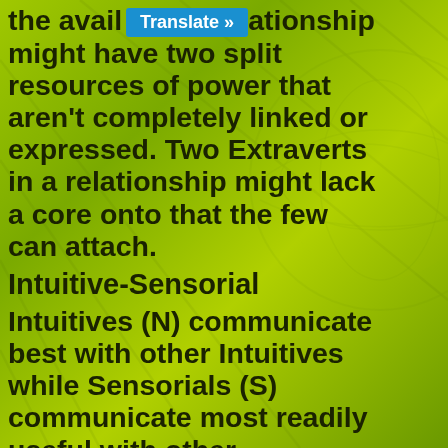the avail... Introverts [Translate »] ...ationship might have two split resources of power that aren't completely linked or expressed. Two Extraverts in a relationship might lack a core onto that the few can attach.
Intuitive-Sensorial
Intuitives (N) communicate best with other Intuitives while Sensorials (S) communicate most readily useful with other Sensorials. For this reason sets of buddies are generally either all N or all S. N vs. S perception may